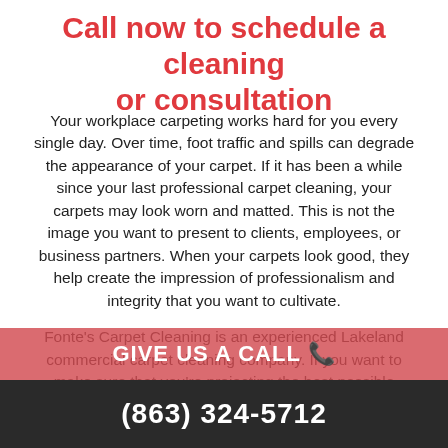Call now to schedule a cleaning or consultation
Your workplace carpeting works hard for you every single day. Over time, foot traffic and spills can degrade the appearance of your carpet. If it has been a while since your last professional carpet cleaning, your carpets may look worn and matted. This is not the image you want to present to clients, employees, or business partners. When your carpets look good, they help create the impression of professionalism and integrity that you want to cultivate.
Fonte's Carpet Cleaning is an experienced Lakeland commercial carpet cleaning company. If you want to make sure that you're projecting the best possible image, then call us today! We would be happy to answer any questions or schedule a
GIVE US A CALL
(863) 324-5712